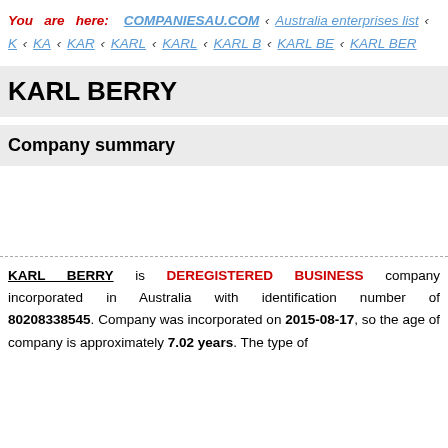You are here: COMPANIESAU.COM › Australia enterprises list › K › KA › KAR › KARL › KARL › KARL B › KARL BE › KARL BER
KARL BERRY
Company summary
KARL BERRY is DEREGISTERED BUSINESS company incorporated in Australia with identification number of 80208338545. Company was incorporated on 2015-08-17, so the age of company is approximately 7.02 years. The type of